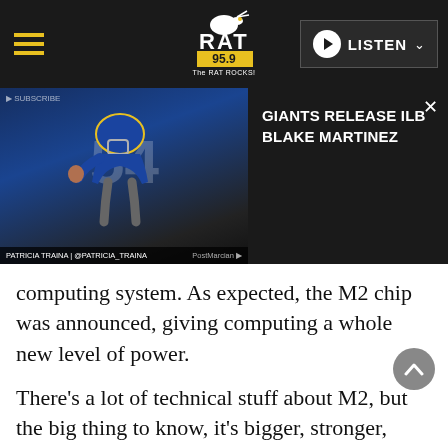WRAT 95.9 The RAT ROCKS! — LISTEN
[Figure (screenshot): Video thumbnail showing a New York Giants player in blue uniform with number 54, raising fist. Overlay shows headline: GIANTS RELEASE ILB BLAKE MARTINEZ. Label: PATRICIA TRAINA | @PATRICIA_TRAINA]
computing system. As expected, the M2 chip was announced, giving computing a whole new level of power.
There's a lot of technical stuff about M2, but the big thing to know, it's bigger, stronger, faster and way more powerful than M1 (which was already obscenely powerful). It's twice as powerful as the most powerful PC chip currently, with way, way less power